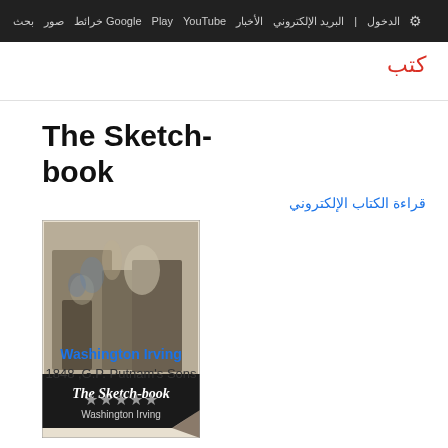بحث صور خرائط Google Play YouTube الأخبار البريد الإلكتروني الدخول
كتب
The Sketch-book
قراءة الكتاب الإلكتروني
[Figure (photo): Book cover of The Sketch-book by Washington Irving, showing an engraved illustration of a gathering scene with figures in historical dress]
Washington Irving
G.P. Putnam's Sons, 1848
★★★★★